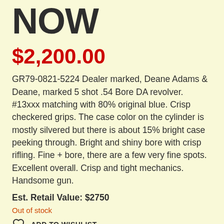NOW
$2,200.00
GR79-0821-5224 Dealer marked, Deane Adams & Deane, marked 5 shot .54 Bore DA revolver. #13xxx matching with 80% original blue. Crisp checkered grips. The case color on the cylinder is mostly silvered but there is about 15% bright case peeking through. Bright and shiny bore with crisp rifling. Fine + bore, there are a few very fine spots. Excellent overall. Crisp and tight mechanics. Handsome gun.
Est. Retail Value: $2750
Out of stock
ADD TO WISHLIST